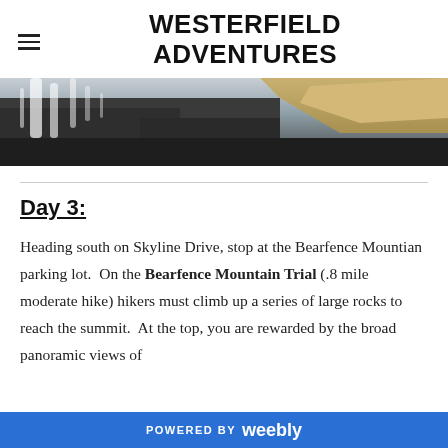WESTERFIELD ADVENTURES
[Figure (photo): A waterfall and rocky landscape hero banner image, showing water cascading over dark rocks with a sandy/tan cliff in the upper right.]
Day 3:
Heading south on Skyline Drive, stop at the Bearfence Mountian parking lot.  On the Bearfence Mountain Trial (.8 mile moderate hike) hikers must climb up a series of large rocks to reach the summit.  At the top, you are rewarded by the broad panoramic views of
POWERED BY weebly